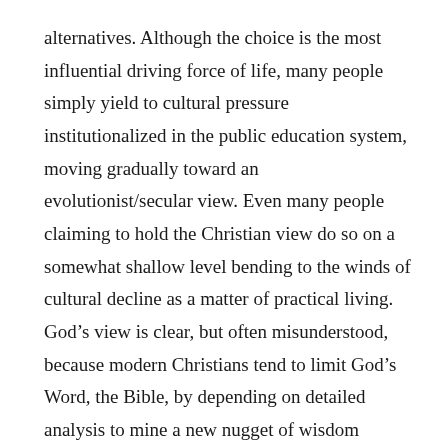alternatives. Although the choice is the most influential driving force of life, many people simply yield to cultural pressure institutionalized in the public education system, moving gradually toward an evolutionist/secular view. Even many people claiming to hold the Christian view do so on a somewhat shallow level bending to the winds of cultural decline as a matter of practical living. God's view is clear, but often misunderstood, because modern Christians tend to limit God's Word, the Bible, by depending on detailed analysis to mine a new nugget of wisdom (zoom in). However, God's view is holistic (zoom out). Rather than viewing God's Word from the “bottom up,” Christians must learn, insofar as possible to also appreciate in a pervasive way, the wholeness of God's